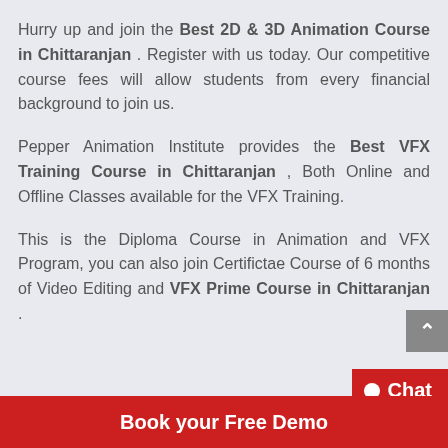Hurry up and join the Best 2D & 3D Animation Course in Chittaranjan . Register with us today. Our competitive course fees will allow students from every financial background to join us.
Pepper Animation Institute provides the Best VFX Training Course in Chittaranjan , Both Online and Offline Classes available for the VFX Training.
This is the Diploma Course in Animation and VFX Program, you can also join Certifictae Course of 6 months of Video Editing and VFX Prime Course in Chittaranjan .
Book your Free Demo
Chat